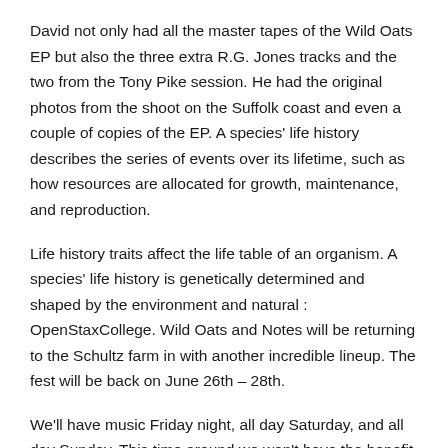David not only had all the master tapes of the Wild Oats EP but also the three extra R.G. Jones tracks and the two from the Tony Pike session. He had the original photos from the shoot on the Suffolk coast and even a couple of copies of the EP. A species' life history describes the series of events over its lifetime, such as how resources are allocated for growth, maintenance, and reproduction.
Life history traits affect the life table of an organism. A species' life history is genetically determined and shaped by the environment and natural : OpenStaxCollege. Wild Oats and Notes will be returning to the Schultz farm in with another incredible lineup. The fest will be back on June 26th – 28th.
We'll have music Friday night, all day Saturday, and all day Sunday. This time around we won't have the benefit of a long weekend so you better book the Monday off, or be prepared to call in sick. Other Oat species growing in Victoria with which Wild Oats may be confused include Cultivated Oats (Avena sativa) with its hairless and awnless (or shortly awned to 20 mm) florets and Bearded Oats (Avena